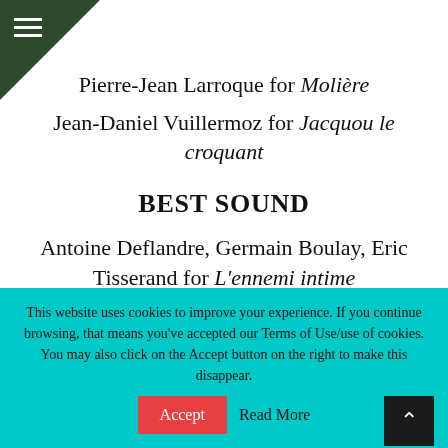Pierre-Jean Larroque for Molière
Jean-Daniel Vuillermoz for Jacquou le croquant
BEST SOUND
Antoine Deflandre, Germain Boulay, Eric Tisserand for L'ennemi intime
Guillaume Le Braz, Valérie Deloof, Agnès Ravez, Thierry Delor for Les chansons d'amour
Thierry Lebon, Eric Chevallier, Samy Bardet for
This website uses cookies to improve your experience. If you continue browsing, that means you've accepted our Terms of Use/use of cookies. You may also click on the Accept button on the right to make this disappear.